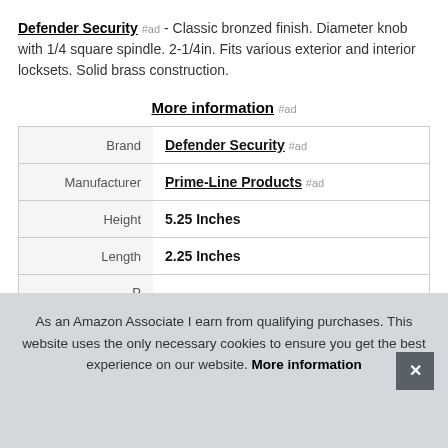Defender Security #ad - Classic bronzed finish. Diameter knob with 1/4 square spindle. 2-1/4in. Fits various exterior and interior locksets. Solid brass construction.
More information #ad
|  |  |
| --- | --- |
| Brand | Defender Security #ad |
| Manufacturer | Prime-Line Products #ad |
| Height | 5.25 Inches |
| Length | 2.25 Inches |
| P |  |
As an Amazon Associate I earn from qualifying purchases. This website uses the only necessary cookies to ensure you get the best experience on our website. More information